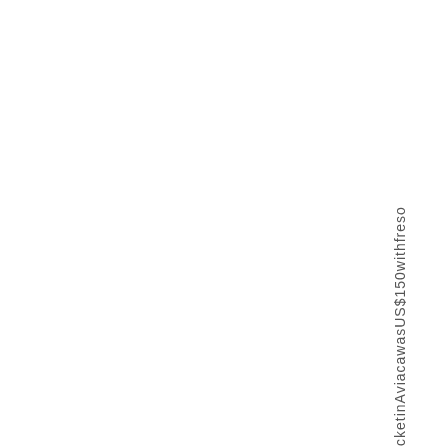cketinAviacawa sUS$150 with freso